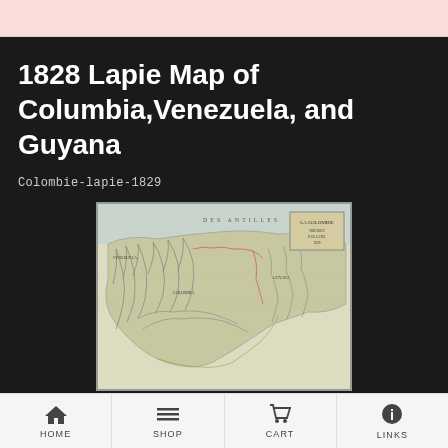1828 Lapie Map of Columbia,Venezuela, and Guyana
Colombie-lapie-1829
[Figure (map): 1828 Lapie historical map showing Columbia, Venezuela, and Guyana region with mountain ranges, borders, coastline, and a decorative cartouche in the upper right. Title 'LA COLOMBIE' visible. Shows 'ANTILLES' in upper portion.]
HOME   SHOP   CART   LINKS